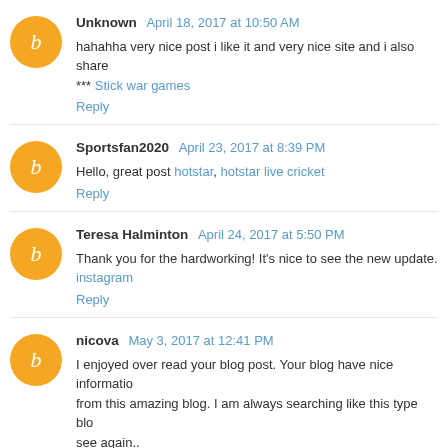Unknown April 18, 2017 at 10:50 AM
hahahha very nice post i like it and very nice site and i also share
*** Stick war games
Reply
Sportsfan2020 April 23, 2017 at 8:39 PM
Hello, great post hotstar, hotstar live cricket
Reply
Teresa Halminton April 24, 2017 at 5:50 PM
Thank you for the hardworking! It's nice to see the new update.
instagram
Reply
nicova May 3, 2017 at 12:41 PM
I enjoyed over read your blog post. Your blog have nice informatio from this amazing blog. I am always searching like this type blo see again..
starfall | barney | abcya